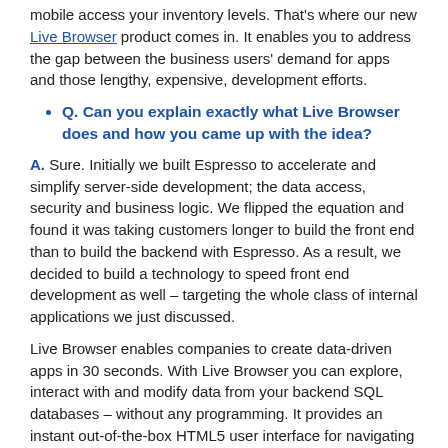mobile access your inventory levels. That's where our new Live Browser product comes in. It enables you to address the gap between the business users' demand for apps and those lengthy, expensive, development efforts.
Q. Can you explain exactly what Live Browser does and how you came up with the idea?
A. Sure. Initially we built Espresso to accelerate and simplify server-side development; the data access, security and business logic. We flipped the equation and found it was taking customers longer to build the front end than to build the backend with Espresso. As a result, we decided to build a technology to speed front end development as well – targeting the whole class of internal applications we just discussed.
Live Browser enables companies to create data-driven apps in 30 seconds. With Live Browser you can explore, interact with and modify data from your backend SQL databases – without any programming. It provides an instant out-of-the-box HTML5 user interface for navigating the database in a master/detail format.  Plus, the UI is customizable on-the-fly by both business users and technical staff, providing full read and editing support protected by Espresso's built-in role-based row/column security.
Live Browser even supports update, with updatable grids, transactions, lookups and spreadsheet-like reactive business logic. And that's important because most BI tools present a beautiful interface to view your data, but they don't let you interact with and update it. Since Live Browser is built on